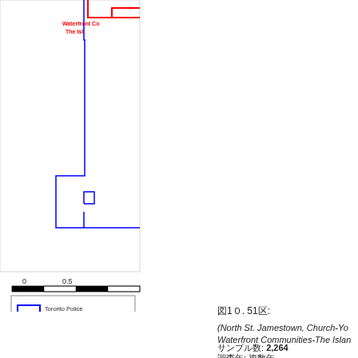[Figure (map): Partial map showing Toronto Police Divisional Boundary (blue line) and City of Toronto Neighbourhood boundary (red line) with scale bar. Labels show 'Waterfront Co...' and 'The Isl...' in red text. Scale shows 0 and 0.5 markers.]
図1０. 51区:
(North St. Jamestown, Church-Yo... Waterfront Communities-The Islan...
サンプル数: 2,264
調査年: 複数年